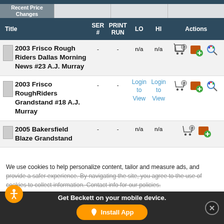Recent Price Changes
| Title | SER # | PRINT RUN | LO | HI | Actions |
| --- | --- | --- | --- | --- | --- |
| 2003 Frisco Rough Riders Dallas Morning News #23 A.J. Murray | - | - | n/a | n/a | [cart][add][search] |
| 2003 Frisco RoughRiders Grandstand #18 A.J. Murray | - | - | Login to View | Login to View | [cart][add][search] |
| 2005 Bakersfield Blaze Grandstand | - | - | n/a | n/a | [cart][add] |
We use cookies to help personalize content, tailor and measure ads, and provide a safer experience. By navigating the site, you agree to the use of cookies to collect information. Contact info for our policies.
Get Beckett on your mobile device.
Install App